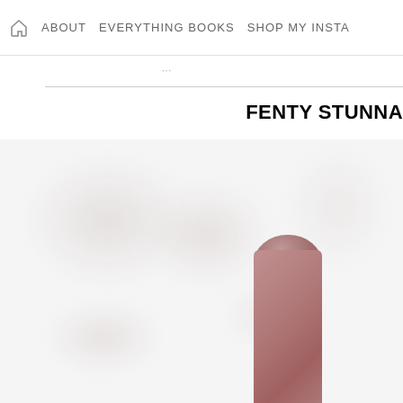🏠 ABOUT   EVERYTHING BOOKS   SHOP MY INSTA
FENTY STUNNA
[Figure (photo): Blurred background with multiple lipstick tubes and one sharp close-up lipstick bullet in the foreground, viewed from above at a slight angle, showing the dark interior of the open tube. Products appear to be Fenty Beauty Stunna lip products.]